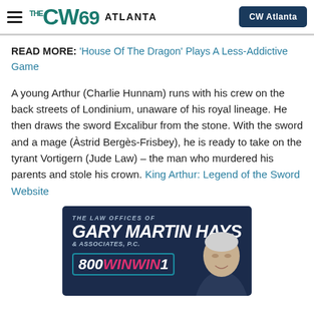The CW69 Atlanta
READ MORE: 'House Of The Dragon' Plays A Less-Addictive Game
A young Arthur (Charlie Hunnam) runs with his crew on the back streets of Londinium, unaware of his royal lineage. He then draws the sword Excalibur from the stone. With the sword and a mage (Àstrid Bergès-Frisbey), he is ready to take on the tyrant Vortigern (Jude Law) – the man who murdered his parents and stole his crown. King Arthur: Legend of the Sword Website
[Figure (advertisement): Advertisement for The Law Offices of Gary Martin Hays & Associates, P.C. featuring phone number 800 WIN WIN 1 and a photo of an older man.]